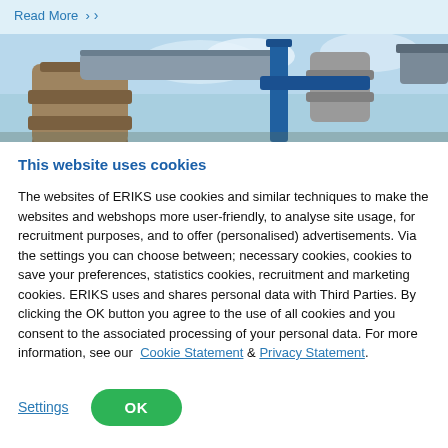Read More >
[Figure (photo): Industrial pipes and fittings with blue metallic framework against a partly cloudy sky]
This website uses cookies
The websites of ERIKS use cookies and similar techniques to make the websites and webshops more user-friendly, to analyse site usage, for recruitment purposes, and to offer (personalised) advertisements. Via the settings you can choose between; necessary cookies, cookies to save your preferences, statistics cookies, recruitment and marketing cookies. ERIKS uses and shares personal data with Third Parties. By clicking the OK button you agree to the use of all cookies and you consent to the associated processing of your personal data. For more information, see our Cookie Statement & Privacy Statement.
Settings
OK